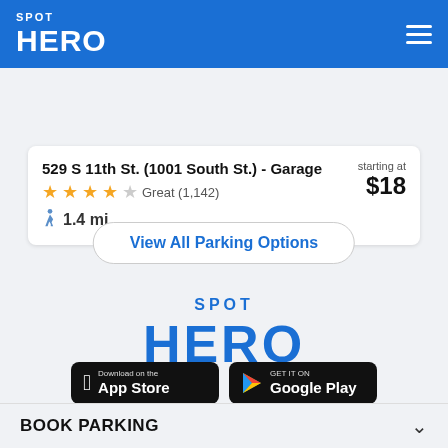SPOT HERO
529 S 11th St. (1001 South St.) - Garage | starting at $18 | Great (1,142) | 1.4 mi
View All Parking Options
[Figure (logo): SpotHero logo - SPOT HERO in blue text]
[Figure (other): App store download buttons: Download on the App Store and GET IT ON Google Play]
BOOK PARKING